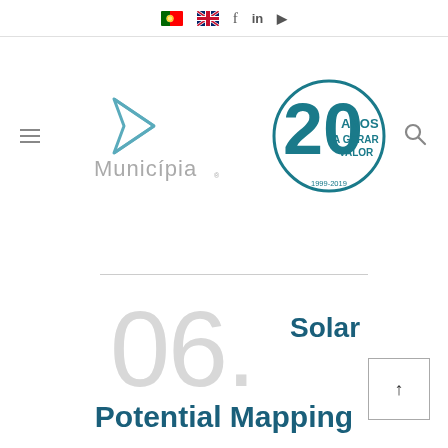🇵🇹 🇬🇧 f in ▶
[Figure (logo): Municípia logo with arrow icon and '20 ANOS A GERAR VALOR 1999-2019' anniversary badge in teal circle]
06. Solar
Potential Mapping